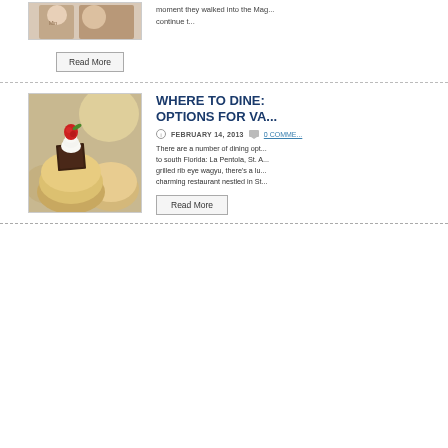[Figure (photo): Photo of people in t-shirts, partially cropped at top]
moment they walked into the Mag... continue t...
Read More
WHERE TO DINE: OPTIONS FOR VA...
FEBRUARY 14, 2013   0 COMME...
[Figure (photo): Close-up photo of cream puff pastries with whipped cream and a raspberry on top, with a chocolate square, blurred background]
There are a number of dining opt... to south Florida: La Pentola, St. A... grilled rib eye wagyu, there's a lu... charming restaurant nestled in St...
Read More